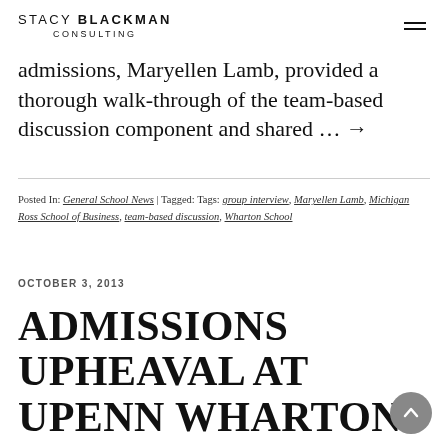STACY BLACKMAN CONSULTING
admissions, Maryellen Lamb, provided a thorough walk-through of the team-based discussion component and shared … →
Posted In: General School News | Tagged: Tags: group interview, Maryellen Lamb, Michigan Ross School of Business, team-based discussion, Wharton School
OCTOBER 3, 2013
ADMISSIONS UPHEAVAL AT UPENN WHARTON SCHOOL